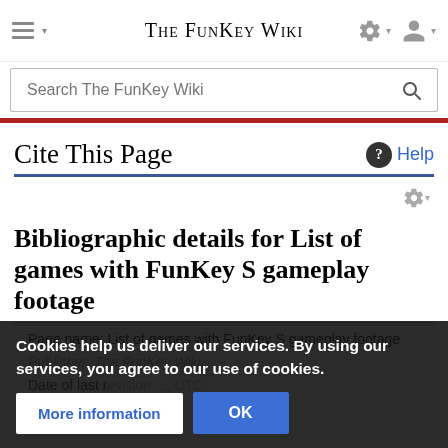The FunKey Wiki
Cite This Page
Bibliographic details for List of games with FunKey S gameplay footage
Page name: List of games with FunKey S gameplay footage
Publisher: The FunKey Wiki.
Date of last revision: ... UTC
Date retrieved: ...
Cookies help us deliver our services. By using our services, you agree to our use of cookies.